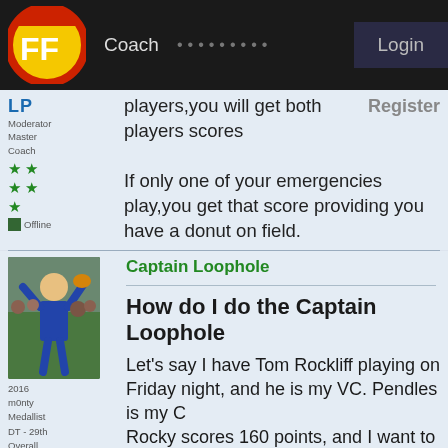FF | Coach | ......... | Login
players,you will get both players scores
Register
If only one of your emergencies play,you get that score providing you have a donut on field.
[Figure (photo): Australian rules football player jumping to catch ball, wearing blue jersey]
Captain Loophole
2016 m0nty Medallist DT - 29th Overall DT 2016
How do I do the Captain Loophole
Let's say I have Tom Rockliff playing on Friday night, and he is my VC. Pendles is my C Rocky scores 160 points, and I want to take that as my captain score